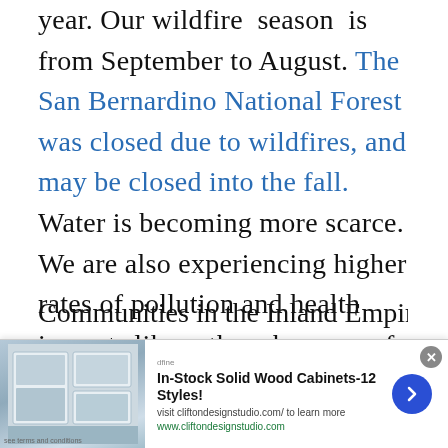year. Our wildfire season is from September to August. The San Bernardino National Forest was closed due to wildfires, and may be closed into the fall. Water is becoming more scarce. We are also experiencing higher rates of pollution and health impacts like asthma because of our proximity to power plants and warehouses.
Communities in the Inland Empire are calling
[Figure (other): Web advertisement banner for In-Stock Solid Wood Cabinets - 12 Styles with a photo of kitchen cabinets, a close button, and a forward arrow button. URL: www.cliftondesignstudio.com]